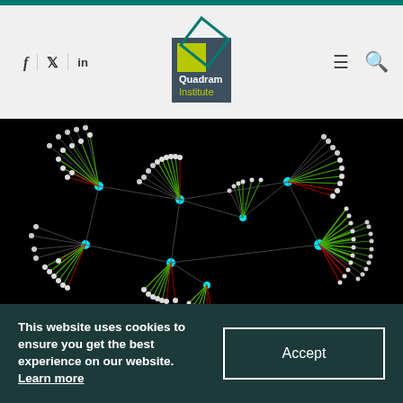Quadram Institute
[Figure (network-graph): A network graph visualization on a black background, showing interconnected nodes with cyan/teal hub nodes connected by green, red/dark-red, and gray lines radiating outward to smaller white/gray leaf nodes, forming a phylogenetic or genomic network diagram.]
18th October 2017
This website uses cookies to ensure you get the best experience on our website. Learn more